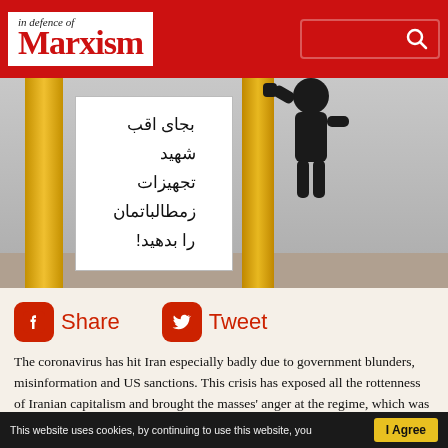In Defence of Marxism
[Figure (photo): Street photo showing a yellow pillar with a stencil art poster in Farsi/Persian script, with a graffiti-style figure above it. The poster appears to be a protest message.]
[Figure (infographic): Facebook Share button (red rounded square with white F icon) and Twitter Tweet button (red rounded square with white bird icon) for social sharing]
The coronavirus has hit Iran especially badly due to government blunders, misinformation and US sanctions. This crisis has exposed all the rottenness of Iranian capitalism and brought the masses' anger at the regime, which was already heating up, close to boiling point.
This website uses cookies, by continuing to use this website, you | I Agree